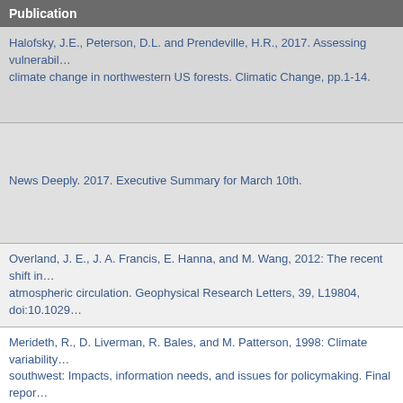Publication
Halofsky, J.E., Peterson, D.L. and Prendeville, H.R., 2017. Assessing vulnerability to climate change in northwestern US forests. Climatic Change, pp.1-14.
News Deeply. 2017. Executive Summary for March 10th.
Overland, J. E., J. A. Francis, E. Hanna, and M. Wang, 2012: The recent shift in early summer Arctic atmospheric circulation. Geophysical Research Letters, 39, L19804, doi:10.1029/
Merideth, R., D. Liverman, R. Bales, and M. Patterson, 1998: Climate variability and change in the US southwest: Impacts, information needs, and issues for policymaking. Final report of the Tucson Climate Change Symposium and Workshop,. URL ↩
Lennert, Mitdlarak, 2014. Greenland's legal framework for non-renewable reso...